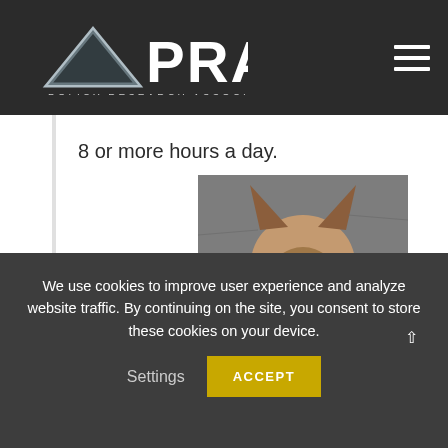[Figure (logo): PRA Policy Research Associates logo with triangle icon and text]
8 or more hours a day.
[Figure (photo): A French Bulldog wearing a pink harness, looking up at the camera, photographed on a sidewalk]
We use cookies to improve user experience and analyze website traffic. By continuing on the site, you consent to store these cookies on your device.
Settings
ACCEPT